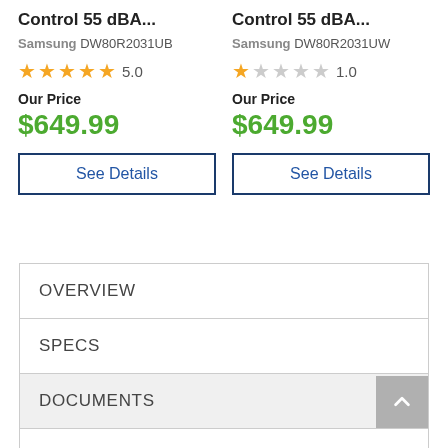Control 55 dBA...
Samsung DW80R2031UB
5.0 stars
Our Price
$649.99
See Details
Control 55 dBA...
Samsung DW80R2031UW
1.0 stars
Our Price
$649.99
See Details
OVERVIEW
SPECS
DOCUMENTS
REBATES